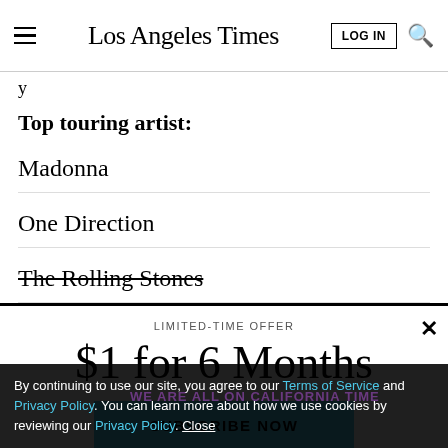Los Angeles Times
y
Top touring artist:
Madonna
One Direction
The Rolling Stones
LIMITED-TIME OFFER
$1 for 6 Months
SUBSCRIBE NOW
By continuing to use our site, you agree to our Terms of Service and Privacy Policy. You can learn more about how we use cookies by reviewing our Privacy Policy. Close